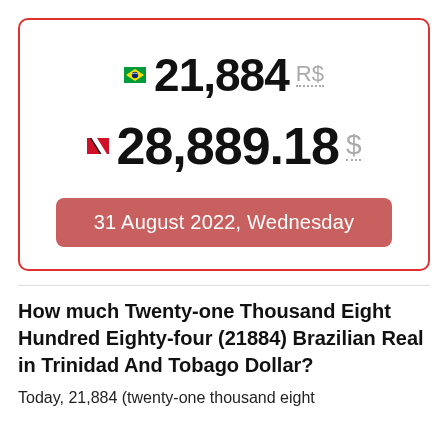[Figure (infographic): Currency conversion card with red border showing 21,884 Brazilian Real (BRL) equals 28,889.18 Trinidad and Tobago Dollar (TTD), dated 31 August 2022, Wednesday]
How much Twenty-one Thousand Eight Hundred Eighty-four (21884) Brazilian Real in Trinidad And Tobago Dollar?
Today, 21,884 (twenty-one thousand eight